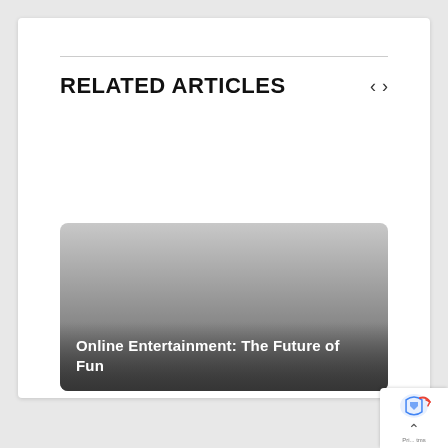RELATED ARTICLES
[Figure (illustration): Article thumbnail image with gradient overlay showing dark-to-light gray gradient from bottom to top, with article title text overlaid at the bottom]
Online Entertainment: The Future of Fun